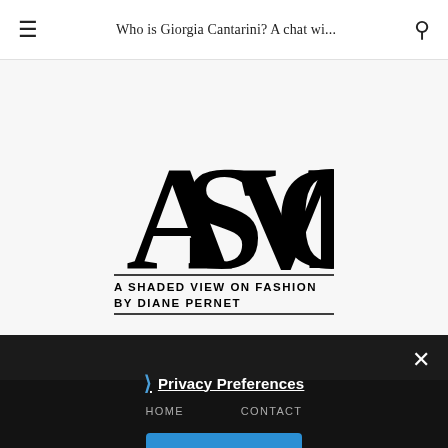Who is Giorgia Cantarini? A chat wi...
[Figure (logo): ASVOF logo — A Shaded View on Fashion by Diane Pernet. Large stylized monogram letters ASVOF in black, with tagline text below: A SHADED VIEW ON FASHION / BY DIANE PERNET]
Privacy Preferences
HOME ... CONTACT
I Agree